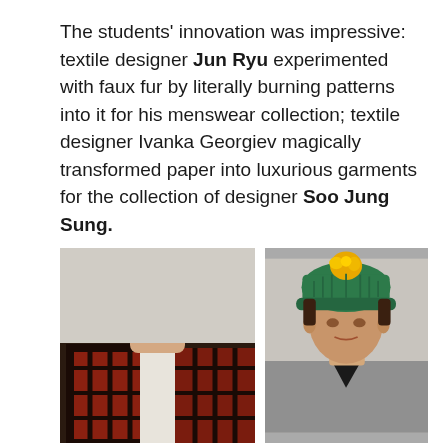The students' innovation was impressive: textile designer Jun Ryu experimented with faux fur by literally burning patterns into it for his menswear collection; textile designer Ivanka Georgiev magically transformed paper into luxurious garments for the collection of designer Soo Jung Sung.
[Figure (photo): Two fashion runway photos side by side. Left: male model wearing a dark red and black plaid/checked coat over a white shirt, with slicked dark hair. Right: male model wearing a green knitted bucket hat with a yellow pompom on top, and a grey textured sweater.]